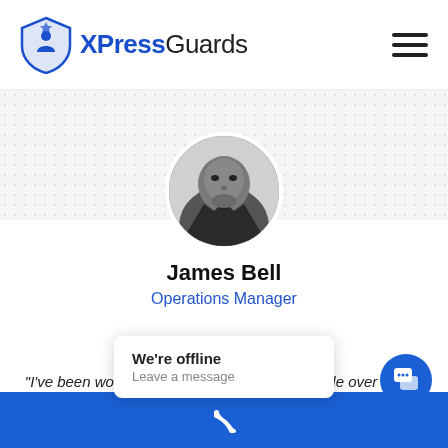[Figure (logo): XPressGuards logo with blue shield/figure icon and company name in blue and dark text]
[Figure (photo): Black and white circular profile photo of James Bell, an African American man with a thoughtful pose, chin resting near hand]
James Bell
Operations Manager
"I've been working with XPressGuards for a little over a year now and they're very professional. Easy security company to work with and the security
We're offline
Leave a message